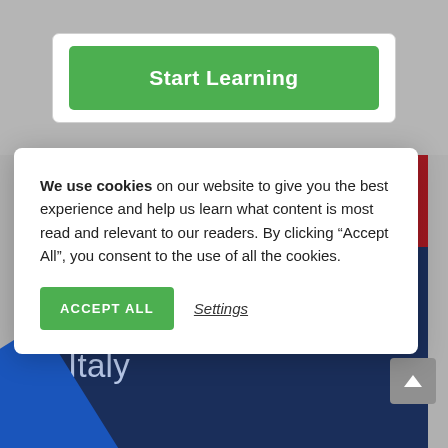[Figure (screenshot): Green 'Start Learning' button inside a white card on a grey background]
[Figure (screenshot): Partial blue and red image strip visible behind the cookie consent modal]
We use cookies on our website to give you the best experience and help us learn what content is most read and relevant to our readers. By clicking "Accept All", you consent to the use of all the cookies.
[Figure (screenshot): Green 'ACCEPT ALL' button and underlined 'Settings' link in the cookie consent modal]
Intensive 3-week IMAT classroom course in Italy
[Figure (other): Blue diagonal 'Workshop' ribbon in the bottom-left corner]